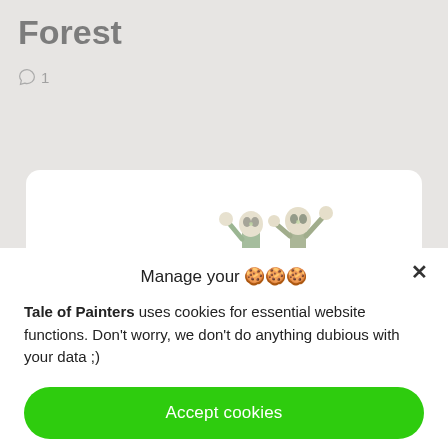Forest
1
[Figure (illustration): Partially visible miniature figures (Warhammer-style painted models) on a white card background]
Manage your 🍪🍪🍪
Tale of Painters uses cookies for essential website functions. Don't worry, we don't do anything dubious with your data ;)
Accept cookies
Deny
View preferences